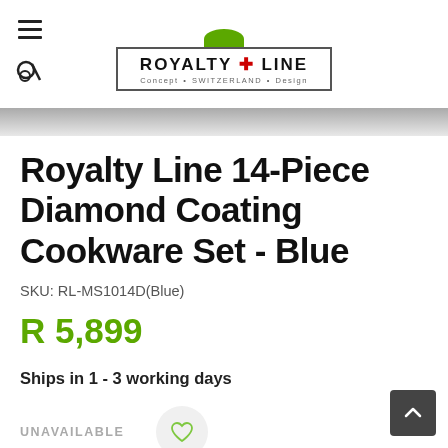Royalty Line — Concept • SWITZERLAND • Design
Royalty Line 14-Piece Diamond Coating Cookware Set - Blue
SKU: RL-MS1014D(Blue)
R 5,899
Ships in 1 - 3 working days
UNAVAILABLE
share Product: Twitter Facebook G+ Pinterest